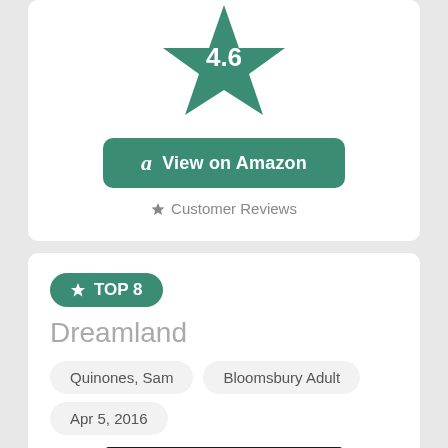[Figure (infographic): Green star rating icon showing 4.6 rating on a white card background]
View on Amazon
★ Customer Reviews
★ TOP 8
Dreamland
Quinones, Sam
Bloomsbury Adult
Apr 5, 2016
[Figure (photo): Book cover of Dreamland: The True Tale of America's Opiate Epidemic, dark background with National Book Critics Circle Award Winner badge]